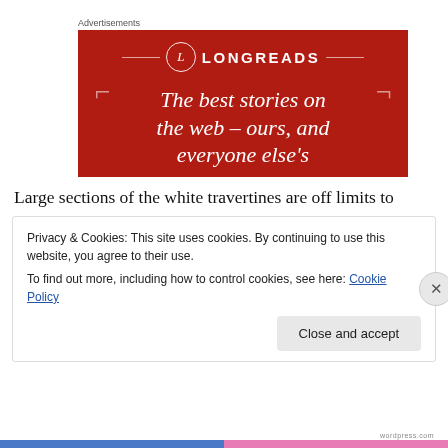Advertisements
[Figure (illustration): Longreads advertisement banner on red background with circle L logo, brand name LONGREADS, decorative bracket lines, and italic serif tagline: 'The best stories on the web – ours, and everyone else's']
Large sections of the white travertines are off limits to
Privacy & Cookies: This site uses cookies. By continuing to use this website, you agree to their use.
To find out more, including how to control cookies, see here: Cookie Policy
Close and accept